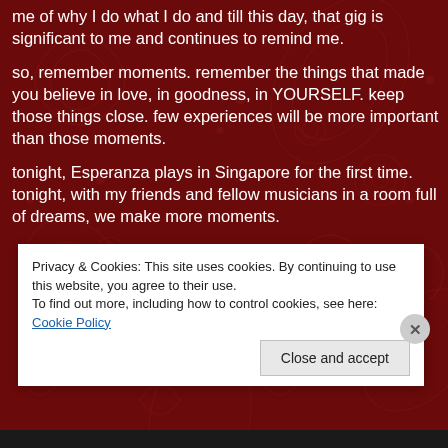me of why I do what I do and till this day, that gig is significant to me and continues to remind me.
so, remember moments. remember the things that made you believe in love, in goodness, in YOURSELF. keep those things close. few experiences will be more important than those moments.
tonight, Esperanza plays in Singapore for the first time. tonight, with my friends and fellow musicians in a room full of dreams, we make more moments.
[Figure (other): Gold square button with a circular border icon (menu/list icon) centered inside, on the dark red paisley background]
Privacy & Cookies: This site uses cookies. By continuing to use this website, you agree to their use.
To find out more, including how to control cookies, see here: Cookie Policy
Close and accept